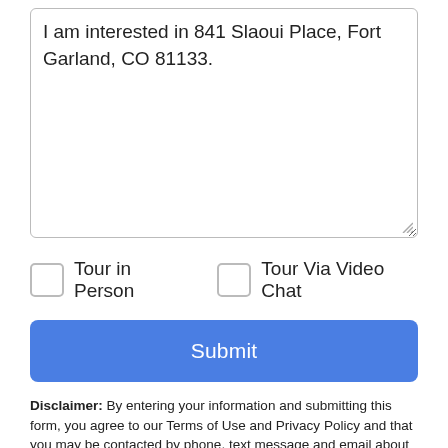I am interested in 841 Slaoui Place, Fort Garland, CO 81133.
Tour in Person
Tour Via Video Chat
Submit
Disclaimer: By entering your information and submitting this form, you agree to our Terms of Use and Privacy Policy and that you may be contacted by phone, text message and email about your inquiry.
Licensed in the State of Colorado, USA The content relating to real
Take a Tour
Ask A Question